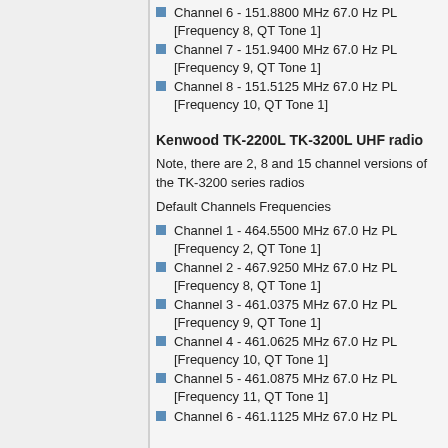Channel 6 - 151.8800 MHz 67.0 Hz PL [Frequency 8, QT Tone 1]
Channel 7 - 151.9400 MHz 67.0 Hz PL [Frequency 9, QT Tone 1]
Channel 8 - 151.5125 MHz 67.0 Hz PL [Frequency 10, QT Tone 1]
Kenwood TK-2200L TK-3200L UHF radio
Note, there are 2, 8 and 15 channel versions of the TK-3200 series radios
Default Channels Frequencies
Channel 1 - 464.5500 MHz 67.0 Hz PL [Frequency 2, QT Tone 1]
Channel 2 - 467.9250 MHz 67.0 Hz PL [Frequency 8, QT Tone 1]
Channel 3 - 461.0375 MHz 67.0 Hz PL [Frequency 9, QT Tone 1]
Channel 4 - 461.0625 MHz 67.0 Hz PL [Frequency 10, QT Tone 1]
Channel 5 - 461.0875 MHz 67.0 Hz PL [Frequency 11, QT Tone 1]
Channel 6 - 461.1125 MHz 67.0 Hz PL